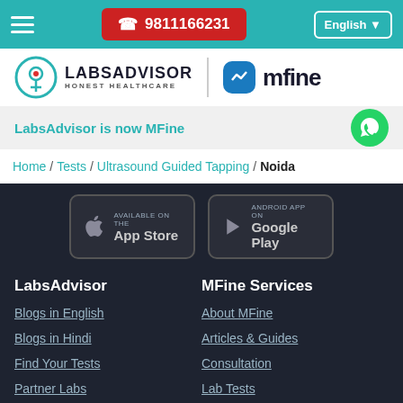☎ 9811166231  English
[Figure (logo): LabsAdvisor Honest Healthcare logo and mfine logo]
LabsAdvisor is now MFine
Home / Tests / Ultrasound Guided Tapping / Noida
[Figure (screenshot): App Store and Google Play download buttons]
LabsAdvisor
Blogs in English
Blogs in Hindi
Find Your Tests
Partner Labs
MFine Services
About MFine
Articles & Guides
Consultation
Lab Tests